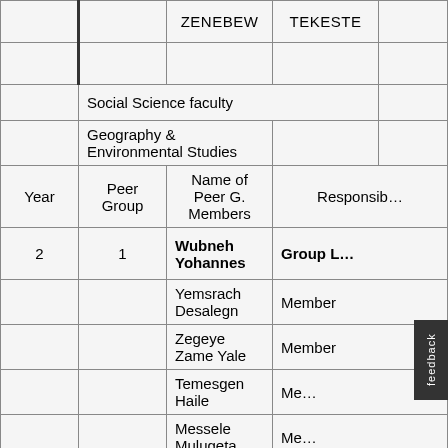| Year | Peer Group | Name of Peer G. Members | Responsibility |
| --- | --- | --- | --- |
|  |  | ZENEBEW | TEKESTE |
|  |  |  |  |
| Social Science faculty |  |  |  |
| Geography & Environmental Studies |  |  |  |
| Year | Peer Group | Name of Peer G. Members | Responsibility |
| 2 | 1 | Wubneh Yohannes | Group Leader |
|  |  | Yemsrach Desalegn | Member |
|  |  | Zegeye Zame Yale | Member |
|  |  | Temesgen Haile | Member |
|  |  | Messele Mulugeta | Member |
|  |  | Sinke Benti Busa | Member |